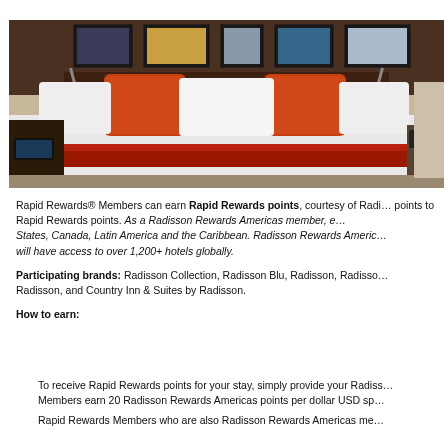[Figure (photo): Hotel room with a large bed featuring white linens, orange decorative pillows, an orange/red bed runner, dark wood headboard with framed photos above it, and wall-mounted lamps on either side.]
Rapid Rewards® Members can earn Rapid Rewards points, courtesy of Radisson Rewards Americas who will convert Radisson Rewards Americas points to Rapid Rewards points. As a Radisson Rewards Americas member, earn points at Radisson hotels throughout the United States, Canada, Latin America and the Caribbean. Radisson Rewards Americas members enrolled in Gold status or above will have access to over 1,200+ hotels globally.
Participating brands: Radisson Collection, Radisson Blu, Radisson, Radisson RED, Park Plaza, Park Inn by Radisson, and Country Inn & Suites by Radisson.
How to earn:
To receive Rapid Rewards points for your stay, simply provide your Radisson Rewards Americas member number at check-in. Members earn 20 Radisson Rewards Americas points per dollar USD spent on eligible purchases.
Rapid Rewards Members who are also Radisson Rewards Americas mem